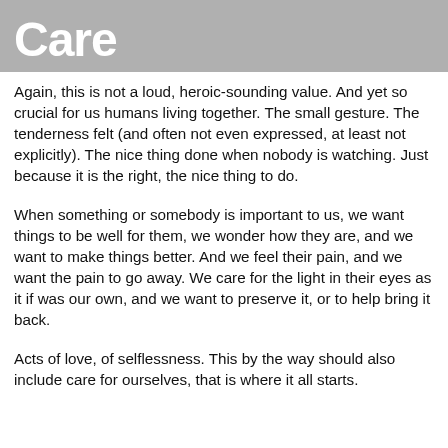Care
Again, this is not a loud, heroic-sounding value. And yet so crucial for us humans living together. The small gesture. The tenderness felt (and often not even expressed, at least not explicitly). The nice thing done when nobody is watching. Just because it is the right, the nice thing to do.
When something or somebody is important to us, we want things to be well for them, we wonder how they are, and we want to make things better. And we feel their pain, and we want the pain to go away. We care for the light in their eyes as it if was our own, and we want to preserve it, or to help bring it back.
Acts of love, of selflessness. This by the way should also include care for ourselves, that is where it all starts.